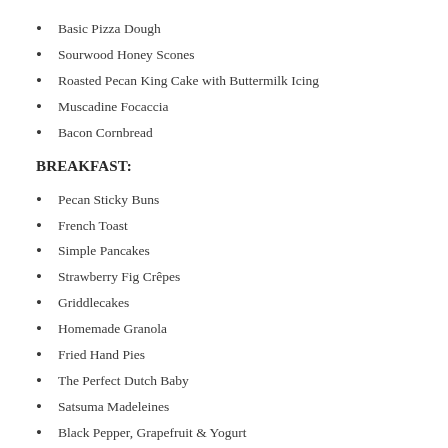Basic Pizza Dough
Sourwood Honey Scones
Roasted Pecan King Cake with Buttermilk Icing
Muscadine Focaccia
Bacon Cornbread
BREAKFAST:
Pecan Sticky Buns
French Toast
Simple Pancakes
Strawberry Fig Crêpes
Griddlecakes
Homemade Granola
Fried Hand Pies
The Perfect Dutch Baby
Satsuma Madeleines
Black Pepper, Grapefruit & Yogurt
Strawberry Conserves